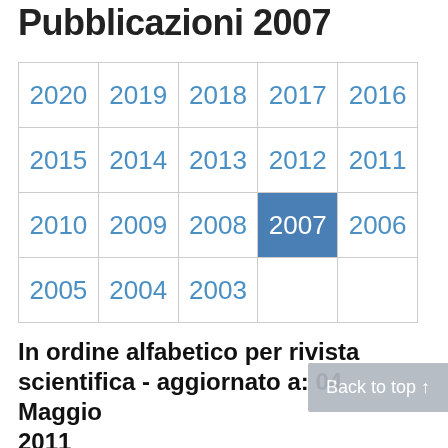Pubblicazioni 2007
| 2020 | 2019 | 2018 | 2017 | 2016 |
| 2015 | 2014 | 2013 | 2012 | 2011 |
| 2010 | 2009 | 2008 | 2007 | 2006 |
| 2005 | 2004 | 2003 |  |  |
In ordine alfabetico per rivista scientifica - aggiornato a: 04 Maggio 2011
1. Spreafico F, Terenziani M, Lualdi E,